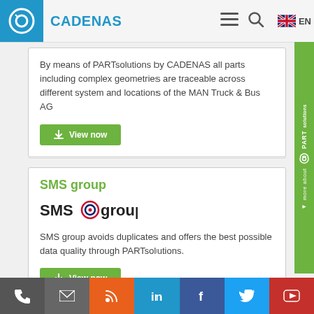CADENAS — Navigation: hamburger menu, search, EN language selector
By means of PARTsolutions by CADENAS all parts including complex geometries are traceable across different system and locations of the MAN Truck & Bus AG
View now
SMS group
[Figure (logo): SMS group logo with circular bull's-eye icon in red/blue]
SMS group avoids duplicates and offers the best possible data quality through PARTsolutions.
View now
Social media footer icons: phone, email, RSS, LinkedIn, Facebook, Twitter, YouTube